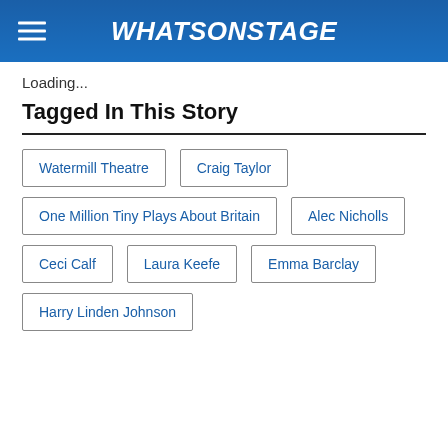WhatsOnStage
Loading...
Tagged In This Story
Watermill Theatre
Craig Taylor
One Million Tiny Plays About Britain
Alec Nicholls
Ceci Calf
Laura Keefe
Emma Barclay
Harry Linden Johnson